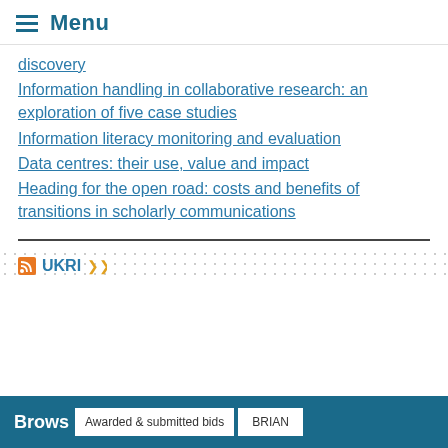Menu
discovery
Information handling in collaborative research: an exploration of five case studies
Information literacy monitoring and evaluation
Data centres: their use, value and impact
Heading for the open road: costs and benefits of transitions in scholarly communications
[Figure (other): UKRI logo row with RSS feed icon and chevron/arrow icon]
Brows   Awarded & submitted bids   BRIAN